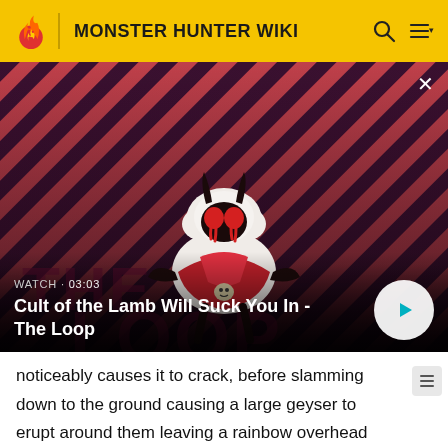MONSTER HUNTER WIKI
[Figure (screenshot): Video thumbnail showing a cartoon lamb character (Cult of the Lamb) with red eyes, black horns, white fluffy body, wearing a red cape, set against a diagonal red and dark purple striped background. Overlaid with video title and play button.]
WATCH · 03:03
Cult of the Lamb Will Suck You In - The Loop
noticeably causes it to crack, before slamming down to the ground causing a large geyser to erupt around them leaving a rainbow overhead momentarily afterwards while they spread their wings and roar for a bit (with no roar effect), leaving them wide open for a counterattack.